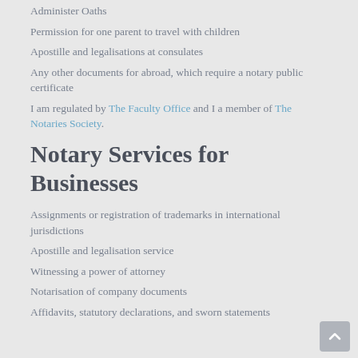Administer Oaths
Permission for one parent to travel with children
Apostille and legalisations at consulates
Any other documents for abroad, which require a notary public certificate
I am regulated by The Faculty Office and I a member of The Notaries Society.
Notary Services for Businesses
Assignments or registration of trademarks in international jurisdictions
Apostille and legalisation service
Witnessing a power of attorney
Notarisation of company documents
Affidavits, statutory declarations, and sworn statements